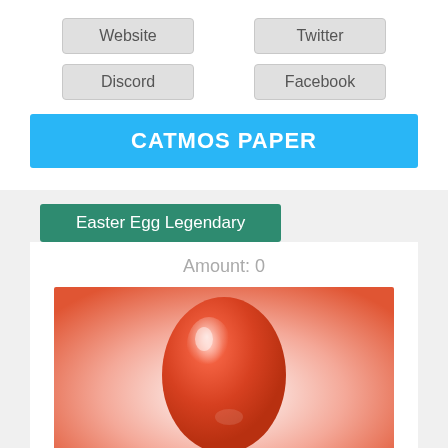Website
Twitter
Discord
Facebook
CATMOS PAPER
Easter Egg Legendary
Amount: 0
[Figure (illustration): A shiny red Easter egg on a gradient red-to-white background]